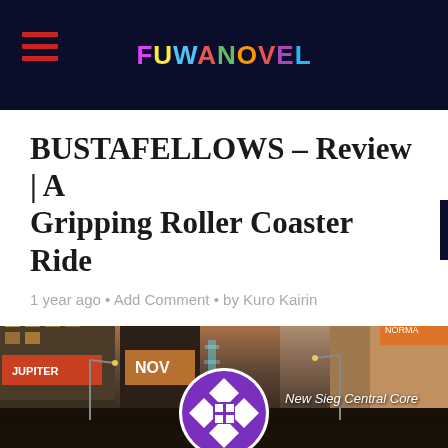FUWANOVEL
BUSTAFELLOWS – Review | A Gripping Roller Coaster Ride
1 year ago • Add Comment • by Kuro Kairin
[Figure (screenshot): Anime-style cityscape showing New Sieg Central Core — a fictional Times Square-like urban environment with tall buildings, neon signs, and a glowing fountain structure in the center. A circular purple and white geometric logo appears at the bottom center. Caption reads 'New Sieg Central Core'.]